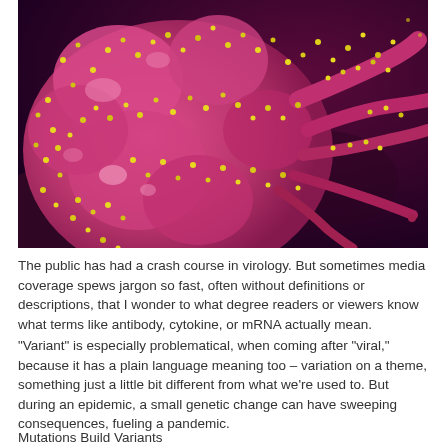[Figure (photo): Colorized scanning electron microscope image of a cell (pink/magenta) covered with yellow viral particles, likely SARS-CoV-2 virus particles, against a dark purple background.]
The public has had a crash course in virology. But sometimes media coverage spews jargon so fast, often without definitions or descriptions, that I wonder to what degree readers or viewers know what terms like antibody, cytokine, or mRNA actually mean.
"Variant" is especially problematical, when coming after "viral," because it has a plain language meaning too – variation on a theme, something just a little bit different from what we're used to. But during an epidemic, a small genetic change can have sweeping consequences, fueling a pandemic.
Mutations Build Variants